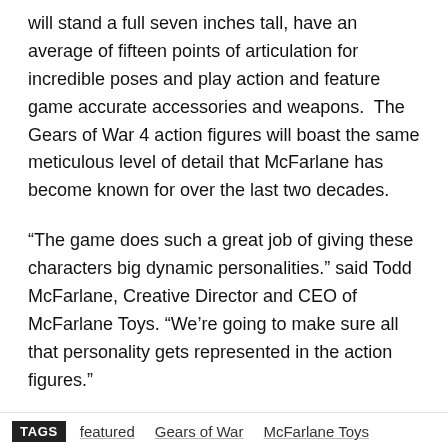will stand a full seven inches tall, have an average of fifteen points of articulation for incredible poses and play action and feature game accurate accessories and weapons.  The Gears of War 4 action figures will boast the same meticulous level of detail that McFarlane has become known for over the last two decades.
“The game does such a great job of giving these characters big dynamic personalities.” said Todd McFarlane, Creative Director and CEO of McFarlane Toys. “We’re going to make sure all that personality gets represented in the action figures.”
The Gears of War 4 action figures will be available at major retail locations beginning Fall of 2016.
TAGS   featured   Gears of War   McFarlane Toys